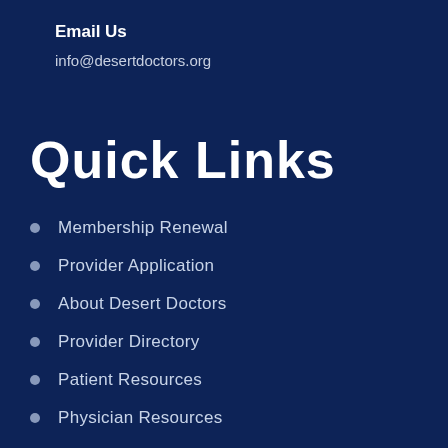Email Us
info@desertdoctors.org
Quick Links
Membership Renewal
Provider Application
About Desert Doctors
Provider Directory
Patient Resources
Physician Resources
Telemedicine